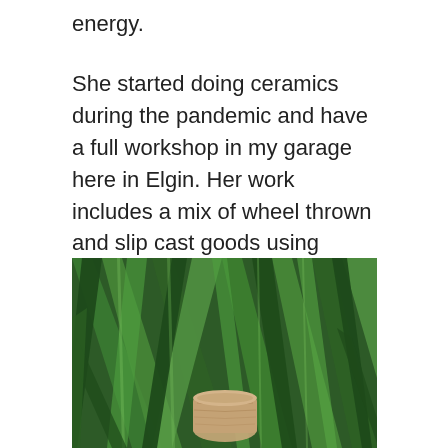energy.
She started doing ceramics during the pandemic and have a full workshop in my garage here in Elgin. Her work includes a mix of wheel thrown and slip cast goods using vintage molds, with the occasional extra weird item. Lots of planters and fun plant accessories too.
[Figure (photo): A ceramic planter nestled among lush green leaves, viewed from above. The plant has long, sword-like green leaves. A small beige/tan textured ceramic pot is visible in the lower center of the image.]